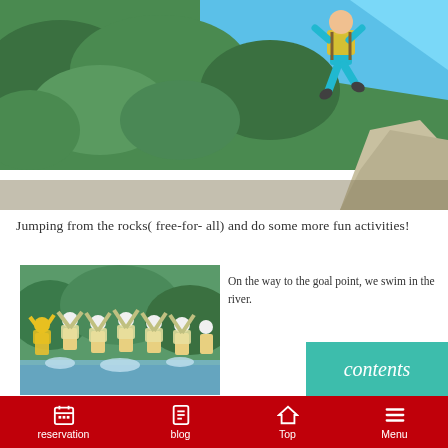[Figure (photo): Person jumping off a rock wearing a yellow life vest and blue swimwear, with green forested hillside and blue sky in background, rock outcropping visible on the right]
Jumping from the rocks( free-for- all) and do some more fun activities!
[Figure (photo): Group of children and adults wearing life vests and helmets jumping joyfully in a river with water splashing around them, surrounded by green forest]
On the way to the goal point, we swim in the river.
contents
reservation  blog  Top  Menu